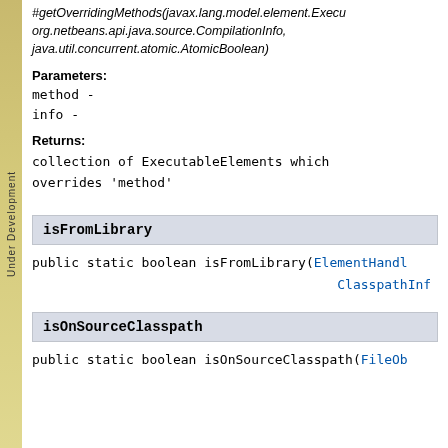#getOverridingMethods(javax.lang.model.element.ExecutableElement, org.netbeans.api.java.source.CompilationInfo, java.util.concurrent.atomic.AtomicBoolean)
Parameters:
method -
info -
Returns:
collection of ExecutableElements which overrides 'method'
isFromLibrary
public static boolean isFromLibrary(ElementHandle, ClasspathInfo)
isOnSourceClasspath
public static boolean isOnSourceClasspath(FileObject)